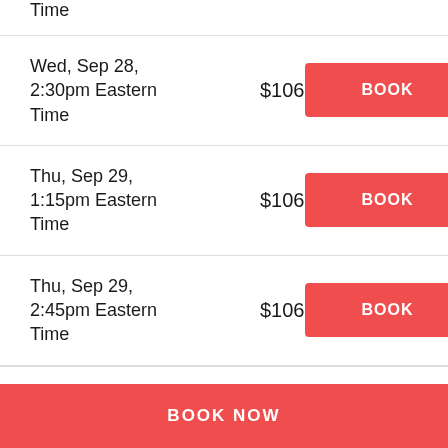| Date/Time | Price | Action |
| --- | --- | --- |
| Wed, Sep 28, 2:30pm Eastern Time | $106 | BOOK |
| Thu, Sep 29, 1:15pm Eastern Time | $106 | BOOK |
| Thu, Sep 29, 2:45pm Eastern Time | $106 | BOOK |
| Fri, Sep 30, | $106 | BOOK |
BOOK NOW